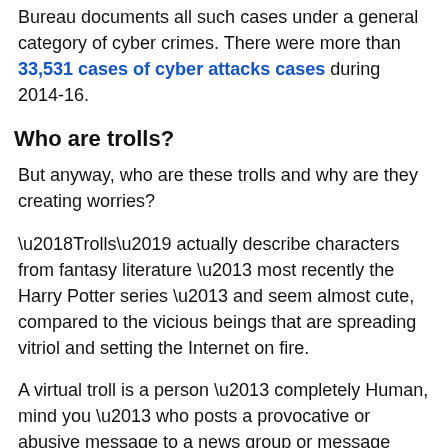Bureau documents all such cases under a general category of cyber crimes. There were more than 33,531 cases of cyber attacks cases during 2014-16.
Who are trolls?
But anyway, who are these trolls and why are they creating worries?
‘Trolls’ actually describe characters from fantasy literature – most recently the Harry Potter series – and seem almost cute, compared to the vicious beings that are spreading vitriol and setting the Internet on fire.
A virtual troll is a person – completely Human, mind you – who posts a provocative or abusive message to a news group or message board. He or she is a cyber bully and disrupter, who is causing or feeding off the pain and